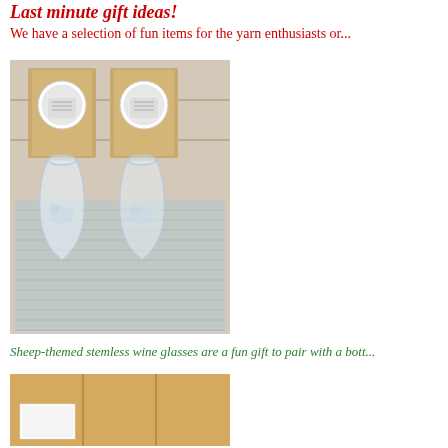Last minute gift ideas!
We have a selection of fun items for the yarn enthusiasts or...
[Figure (photo): Two clear stemless wine glasses with sheep designs on them, sitting on a gray woven cloth/mat on a glass surface, with two kraft paper boxes with round labels behind them.]
Sheep-themed stemless wine glasses are a fun gift to pair with a bott...
[Figure (photo): Close-up of a kraft paper box with a white label, showing packaging for the wine glasses product.]